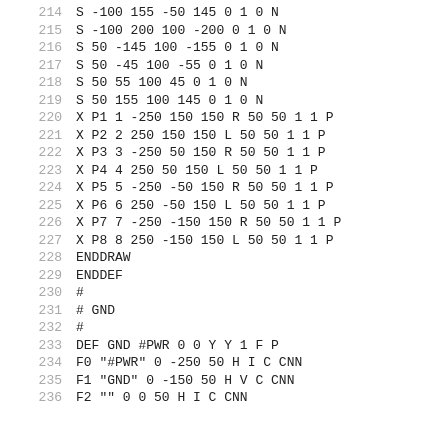214   S -100 155 -50 145 0 1 0 N
215   S -100 200 100 -200 0 1 0 N
216   S 50 -145 100 -155 0 1 0 N
217   S 50 -45 100 -55 0 1 0 N
218   S 50 55 100 45 0 1 0 N
219   S 50 155 100 145 0 1 0 N
220   X P1 1 -250 150 150 R 50 50 1 1 P
221   X P2 2 250 150 150 L 50 50 1 1 P
222   X P3 3 -250 50 150 R 50 50 1 1 P
223   X P4 4 250 50 150 L 50 50 1 1 P
224   X P5 5 -250 -50 150 R 50 50 1 1 P
225   X P6 6 250 -50 150 L 50 50 1 1 P
226   X P7 7 -250 -150 150 R 50 50 1 1 P
227   X P8 8 250 -150 150 L 50 50 1 1 P
228   ENDDRAW
229   ENDDEF
230   #
231   # GND
232   #
233   DEF GND #PWR 0 0 Y Y 1 F P
234   F0 "#PWR" 0 -250 50 H I C CNN
235   F1 "GND" 0 -150 50 H V C CNN
236   F2 "" 0 0 50 H I C CNN